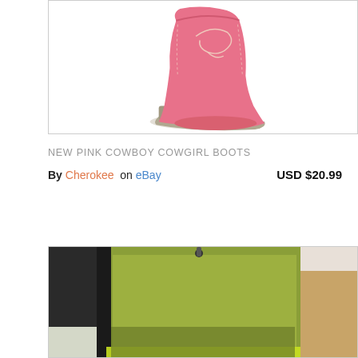[Figure (photo): Pink cowboy/cowgirl boot against white background, viewed from the side showing the sole and stitching detail]
NEW PINK COWBOY COWGIRL BOOTS
By Cherokee on eBay    USD $20.99
[Figure (photo): Green/olive colored bag or backpack with black trim/zipper, partially open, shown against a light background with cardboard boxes visible]